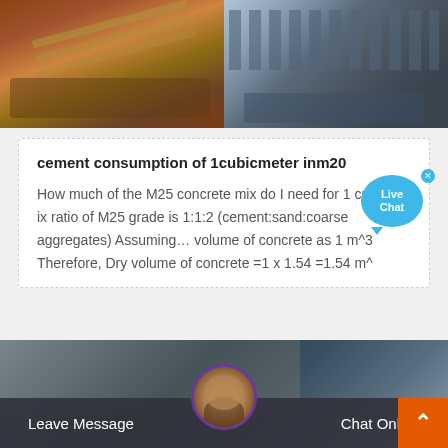[Figure (photo): Two industrial photos side by side: left shows a mining conveyor belt structure with reddish-brown terrain, right shows heavy industrial machinery with large spools and equipment in a factory setting.]
cement consumption of 1cubicmeter inm20
How much of the M25 concrete mix do I need for 1 cubic … ix ratio of M25 grade is 1:1:2 (cement:sand:coarse aggregates) Assuming… volume of concrete as 1 m^3 Therefore, Dry volume of concrete =1 x 1.54 =1.54 m^
[Figure (other): Live Chat bubble widget in blue with an X close button overlay on the text content area]
[Figure (photo): Bottom banner showing an industrial facility background with a customer service representative avatar circle in the center, Leave Message button on the left, Chat Online button on the right, and an orange up-arrow button on the far right.]